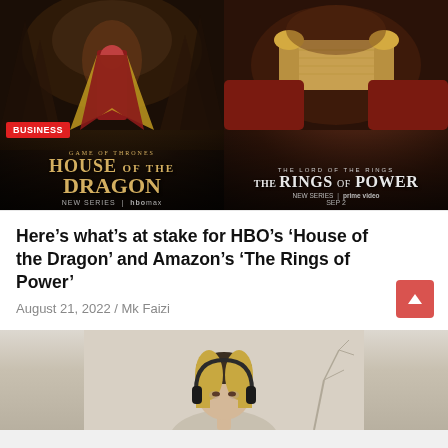[Figure (photo): Side-by-side promotional images: left shows 'House of the Dragon' (Game of Thrones) HBO Max poster with a woman in red dress and BUSINESS badge; right shows 'The Lord of the Rings: The Rings of Power' Amazon Prime Video poster with hands holding a golden scroll]
Here’s what’s at stake for HBO’s ‘House of the Dragon’ and Amazon’s ‘The Rings of Power’
August 21, 2022 / Mk Faizi
[Figure (photo): Partial photo of a young woman wearing headphones, shown from shoulders up, with blurred background]